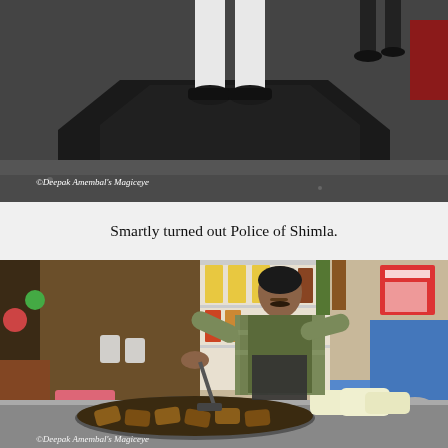[Figure (photo): Photo of feet and lower legs of a police officer standing on a dark octagonal platform, viewed from below. White trousers and black shoes visible. Watermark reads: ©Deepak Amembal's Magiceye]
Smartly turned out Police of Shimla.
[Figure (photo): Photo of a man in a green vest and plaid shirt cooking food on a large round tawa (griddle) with samosas and other items. Shop interior visible with shelves of products in background. Watermark reads: ©Deepak Amembal's Magiceye]